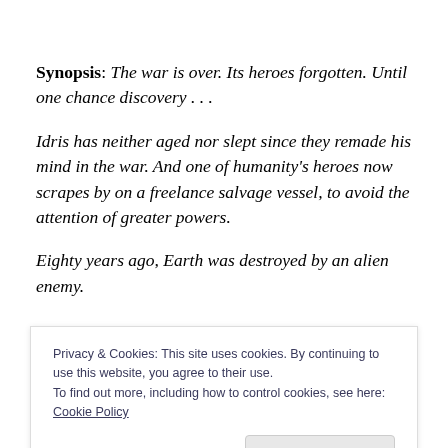Synopsis: The war is over. Its heroes forgotten. Until one chance discovery . . .
Idris has neither aged nor slept since they remade his mind in the war. And one of humanity's heroes now scrapes by on a freelance salvage vessel, to avoid the attention of greater powers.
Eighty years ago, Earth was destroyed by an alien enemy.
Privacy & Cookies: This site uses cookies. By continuing to use this website, you agree to their use.
To find out more, including how to control cookies, see here: Cookie Policy
Close and accept
kind became obsolete.